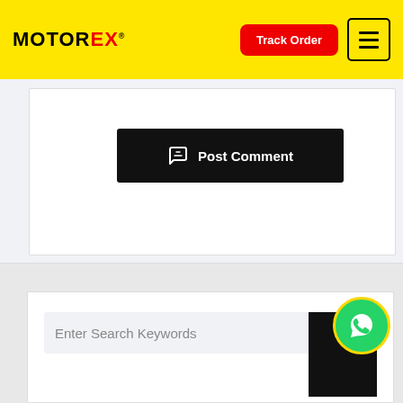MOTOREX — Track Order — Menu
[Figure (screenshot): Black Post Comment button with chat bubble icon]
[Figure (screenshot): Search bar with text Enter Search Keywords and a black search button, with green WhatsApp floating action button]